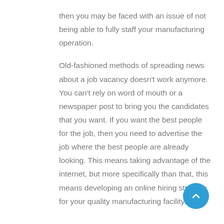then you may be faced with an issue of not being able to fully staff your manufacturing operation.
Old-fashioned methods of spreading news about a job vacancy doesn't work anymore. You can't rely on word of mouth or a newspaper post to bring you the candidates that you want. If you want the best people for the job, then you need to advertise the job where the best people are already looking. This means taking advantage of the internet, but more specifically than that, this means developing an online hiring strategy for your quality manufacturing facility.